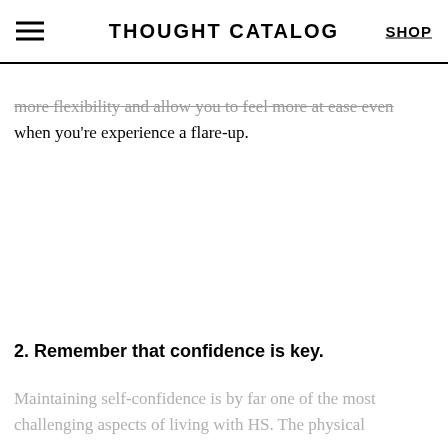THOUGHT CATALOG | SHOP
more flexibility and allow you to feel more at ease even when you’re experience a flare-up.
2. Remember that confidence is key.
Maintaining self-confidence is by far one of the most challenging aspects of living with HS. The physical